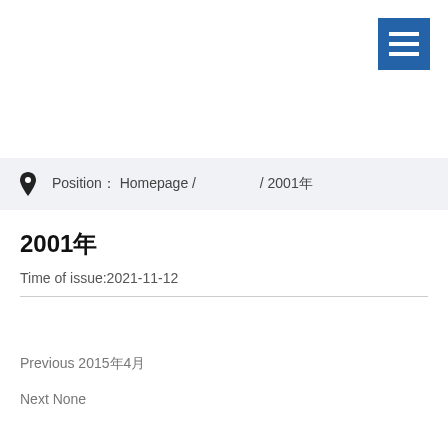[Figure (other): Blue hamburger menu button with three white horizontal lines, positioned top-right]
Position： Homepage / 　　　　 / 2001年
2001年
Time of issue:2021-11-12
Previous 2015年4月
Next None